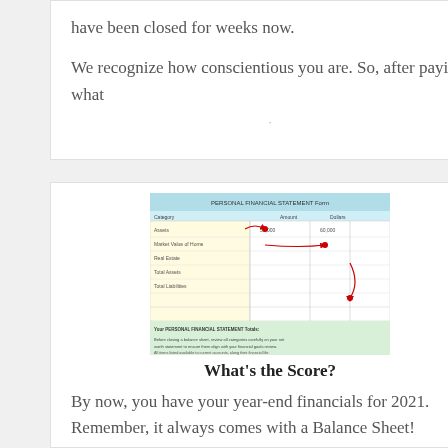have been closed for weeks now.

We recognize how conscientious you are. So, after paying what
[Figure (table-as-image): Financial statements balance sheet image with red arrows and a table showing rows of financial data including assets, totals, and a personal financial statement summary at bottom.]
What's the Score?
By now, you have your year-end financials for 2021. Remember, it always comes with a Balance Sheet!